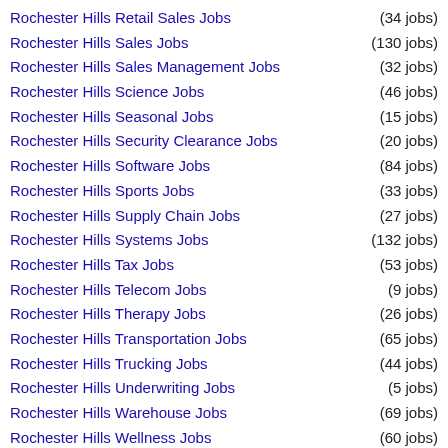Rochester Hills Retail Sales Jobs (34 jobs)
Rochester Hills Sales Jobs (130 jobs)
Rochester Hills Sales Management Jobs (32 jobs)
Rochester Hills Science Jobs (46 jobs)
Rochester Hills Seasonal Jobs (15 jobs)
Rochester Hills Security Clearance Jobs (20 jobs)
Rochester Hills Software Jobs (84 jobs)
Rochester Hills Sports Jobs (33 jobs)
Rochester Hills Supply Chain Jobs (27 jobs)
Rochester Hills Systems Jobs (132 jobs)
Rochester Hills Tax Jobs (53 jobs)
Rochester Hills Telecom Jobs (9 jobs)
Rochester Hills Therapy Jobs (26 jobs)
Rochester Hills Transportation Jobs (65 jobs)
Rochester Hills Trucking Jobs (44 jobs)
Rochester Hills Underwriting Jobs (5 jobs)
Rochester Hills Warehouse Jobs (69 jobs)
Rochester Hills Wellness Jobs (60 jobs)
Rochester Hills Wireless Jobs (5 jobs)
Rochester Hills Work At Home Jobs (143 jobs)